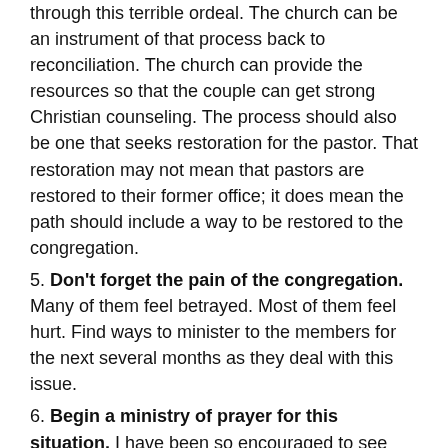through this terrible ordeal. The church can be an instrument of that process back to reconciliation. The church can provide the resources so that the couple can get strong Christian counseling. The process should also be one that seeks restoration for the pastor. That restoration may not mean that pastors are restored to their former office; it does mean the path should include a way to be restored to the congregation.
5. Don't forget the pain of the congregation. Many of them feel betrayed. Most of them feel hurt. Find ways to minister to the members for the next several months as they deal with this issue.
6. Begin a ministry of prayer for this situation. I have been so encouraged to see some churches actually deal with this issue through a specific prayer ministry. One church offered a prayer and reconciliation time after every service. It only lasted a few minutes, and attendance was totally voluntary. But the responses were incredible, both in numbers attending and in the